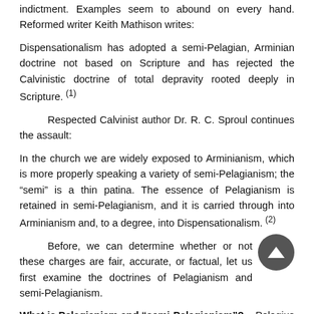indictment. Examples seem to abound on every hand. Reformed writer Keith Mathison writes:
Dispensationalism has adopted a semi-Pelagian, Arminian doctrine not based on Scripture and has rejected the Calvinistic doctrine of total depravity rooted deeply in Scripture. (1)
Respected Calvinist author Dr. R. C. Sproul continues the assault:
In the church we are widely exposed to Arminianism, which is more properly speaking a variety of semi-Pelagianism; the “semi” is a thin patina. The essence of Pelagianism is retained in semi-Pelagianism, and it is carried through into Arminianism and, to a degree, into Dispensationalism. (2)
Before, we can determine whether or not these charges are fair, accurate, or factual, let us first examine the doctrines of Pelagianism and semi-Pelagianism.
What is Pelagianism and “semi-Pelagianism”?
Pelagius (359-4003AD) was a Roman Catholic monk from Great Britain